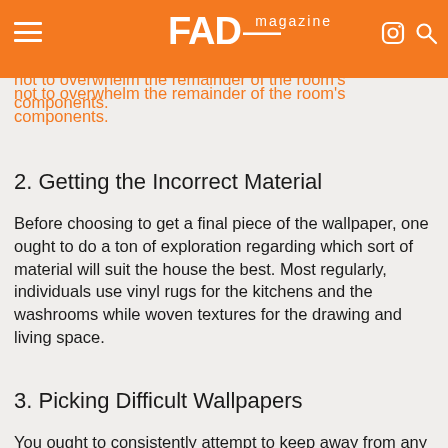FAD magazine
space. Purchase more excellent patterns for the main room and more modest ones for a bit of room. Likewise, you ought to remember that the style purchased ought not to overwhelm the remainder of the room's components.
2. Getting the Incorrect Material
Before choosing to get a final piece of the wallpaper, one ought to do a ton of exploration regarding which sort of material will suit the house the best. Most regularly, individuals use vinyl rugs for the kitchens and the washrooms while woven textures for the drawing and living space.
3. Picking Difficult Wallpapers
You ought to consistently attempt to keep away from any pointless problems for yourself while picking the wallpapers for the house. These days, one can find the